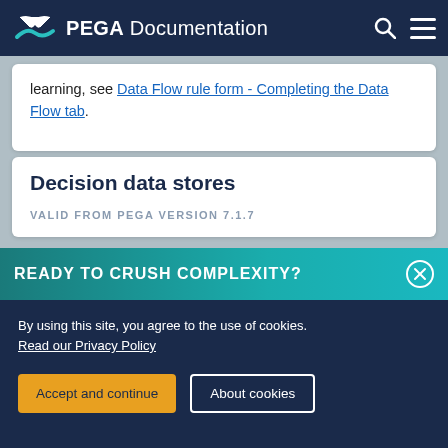PEGA Documentation
learning, see Data Flow rule form - Completing the Data Flow tab.
Decision data stores
VALID FROM PEGA VERSION 7.1.7
READY TO CRUSH COMPLEXITY?
By using this site, you agree to the use of cookies. Read our Privacy Policy
Accept and continue
About cookies